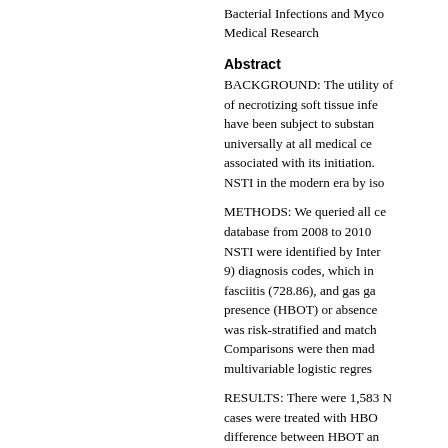Bacterial Infections and Myc
Medical Research
Abstract
BACKGROUND: The utility of of necrotizing soft tissue infe have been subject to substan universally at all medical ce associated with its initiation. NSTI in the modern era by iso
METHODS: We queried all ce database from 2008 to 2010 NSTI were identified by Inter 9) diagnosis codes, which in fasciitis (728.86), and gas ga presence (HBOT) or absence was risk-stratified and match Comparisons were then mad multivariable logistic regres
RESULTS: There were 1,583 N cases were treated with HBO difference between HBOT an cost, complications, and mo moderate, and major). Howe